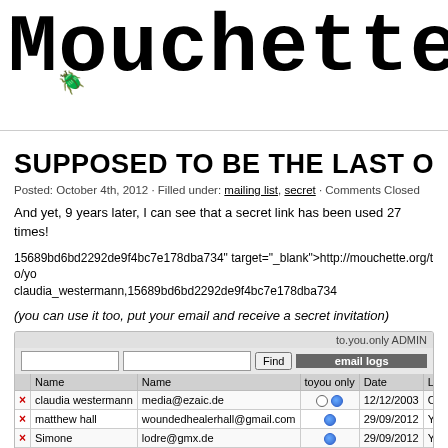[Figure (screenshot): Mouchette website header logo in pixelated/bitmap font style with decorative bug image]
SUPPOSED TO BE THE LAST O
Posted: October 4th, 2012 · Filled under: mailing list, secret · Comments Closed
And yet, 9 years later, I can see that a secret link has been used 27 times!
15689bd6bd2292de9f4bc7e178dba734" target="_blank">http://mouchette.org/to/yo claudia_westermann,15689bd6bd2292de9f4bc7e178dba734
(you can use it too, put your email and receive a secret invitation)
|  | Name | Name | toyou only | Date | Le |
| --- | --- | --- | --- | --- | --- |
| × | claudia westermann | media@ezaic.de |  | 12/12/2003 | O |
| × | matthew hall | woundedhealerhall@gmail.com |  | 29/09/2012 | Ye |
| × | Simone | lodre@gmx.de |  | 29/09/2012 | Ye |
| × | alma | alma_agz@hotmail.com |  | 29/09/2012 | Ye |
| × | Yerim | yerimi0904@naver.com |  | 26/09/2012 | O |
| × | Chabalab | chabalab@mosaika.tv |  | 25/09/2012 | O |
| × | mukuta | mukuta@xmsnet.nl |  | 23/09/2012 | O |